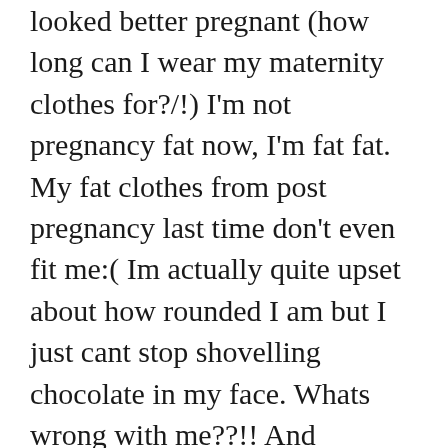looked better pregnant (how long can I wear my maternity clothes for?/!) I'm not pregnancy fat now, I'm fat fat. My fat clothes from post pregnancy last time don't even fit me:( Im actually quite upset about how rounded I am but I just cant stop shovelling chocolate in my face. Whats wrong with me??!! And
Privacy & Cookies: This site uses cookies. By continuing to use this website, you agree to their use. To find out more, including how to control cookies, see here: Cookie Policy
So I have now decided I'm just going to